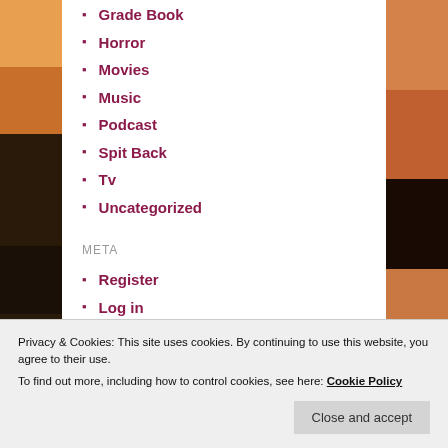Grade Book
Horror
Movies
Music
Podcast
Spit Back
Tv
Uncategorized
META
Register
Log in
Entries feed
Comments feed
Privacy & Cookies: This site uses cookies. By continuing to use this website, you agree to their use.
To find out more, including how to control cookies, see here: Cookie Policy